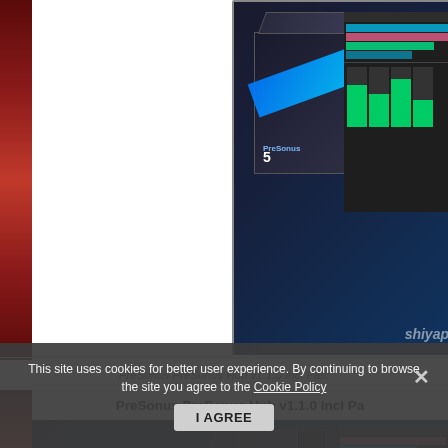[Figure (screenshot): Product box of PreSonus Studio One 5 software with blue/black design, shown alongside DAW interface screenshot. Watermark 'shiyap' visible in corner.]
PreSonus PreSonus Hub v1.1.0 Incl Patc
PreSonus PreSonus Hub v1.1.0 Incl Pa
[Figure (screenshot): Product box of PreSonus software with black/blue/green glowing design, shown alongside DAW interface screenshot. Yellow triangle warning icon and 'shiyap' watermark visible.]
This site uses cookies for better user experience. By continuing to browse the site you agree to the Cookie Policy
I AGREE